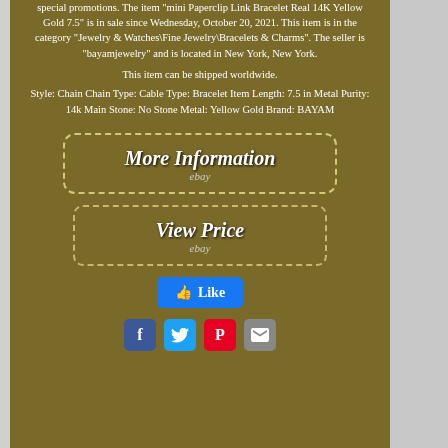special promotions. The item "mini Paperclip Link Bracelet Real 14K Yellow Gold 7.5" is in sale since Wednesday, October 20, 2021. This item is in the category "Jewelry & Watches\Fine Jewelry\Bracelets & Charms". The seller is "bayamjewelry" and is located in New York, New York.
This item can be shipped worldwide.
Style: Chain Chain Type: Cable Type: Bracelet Item Length: 7.5 in Metal Purity: 14k Main Stone: No Stone Metal: Yellow Gold Brand: BAYAM
[Figure (screenshot): More Information button with eBay logo and dashed border]
[Figure (screenshot): View Price button with eBay logo and dashed border]
[Figure (infographic): Facebook Like button]
[Figure (infographic): Social share icons: Facebook, Twitter, Pinterest, Email]